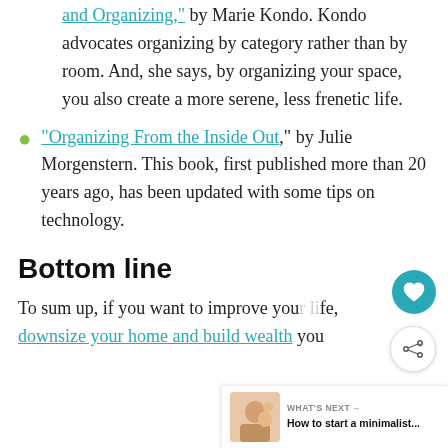and Organizing," by Marie Kondo. Kondo advocates organizing by category rather than by room. And, she says, by organizing your space, you also create a more serene, less frenetic life.
"Organizing From the Inside Out," by Julie Morgenstern. This book, first published more than 20 years ago, has been updated with some tips on technology.
Bottom line
To sum up, if you want to improve your life, downsize your home and build wealth you